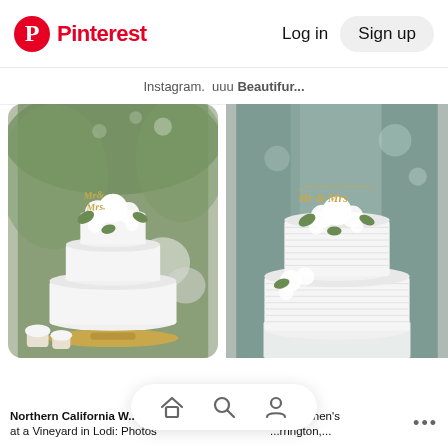Pinterest  Log in  Sign up
Instagram.  uuu Beautifur...
[Figure (photo): White three-tier wedding cake with 'Mr & Mrs' gold script topper and white roses on gold cake stand, outdoor vineyard setting]
[Figure (photo): White two-tier ribbed wedding cake with 'Mr & Mrs' gold script topper and white rose floral arrangement, indoor venue setting]
Northern California W... at a Vineyard in Lodi: Photos
...d Stephen's ...rrington,...